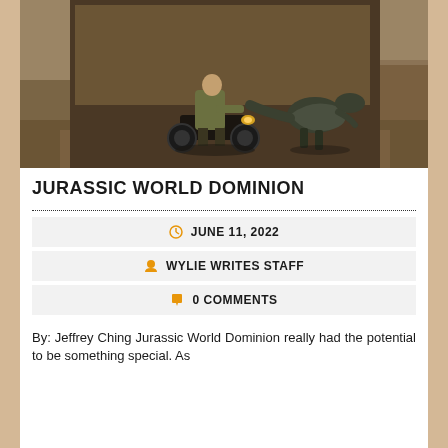[Figure (photo): Movie still from Jurassic World Dominion showing a man on a motorcycle being chased by a dinosaur through what appears to be stone ruins or corridors.]
JURASSIC WORLD DOMINION
JUNE 11, 2022
WYLIE WRITES STAFF
0 COMMENTS
By: Jeffrey Ching Jurassic World Dominion really had the potential to be something special. As